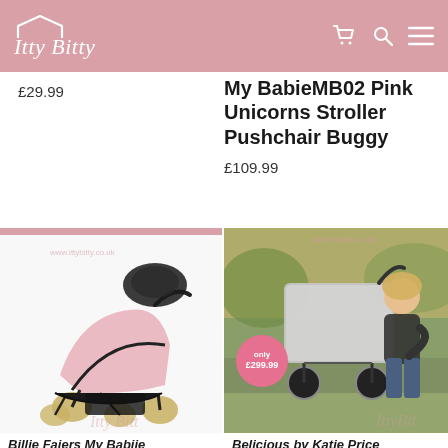Itty Bitty
£29.99
My BabieMB02 Pink Unicorns Stroller Pushchair Buggy
£109.99
[Figure (photo): Pink and black Billie Faiers My Babiie twin stroller pushchair with car seat attachment, shown from the side against a white background. Watermark: www.ittybitty.co.uk and Itty Bitty logo.]
[Figure (photo): Woman smiling outdoors in a park pushing a grey Belicious by Katie Price pushchair/buggy. Sunny background with trees. Badge showing 'only £299.99'. Watermark: www.ittybitty.co.uk and Itty Bitty logo.]
Billie Faiers My Babiie...
Belicious by Katie Price...